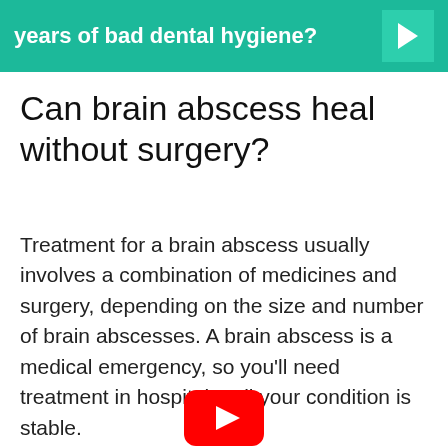years of bad dental hygiene?
Can brain abscess heal without surgery?
Treatment for a brain abscess usually involves a combination of medicines and surgery, depending on the size and number of brain abscesses. A brain abscess is a medical emergency, so you'll need treatment in hospital until your condition is stable.
[Figure (logo): YouTube play button icon (red rounded rectangle with white triangle play symbol)]